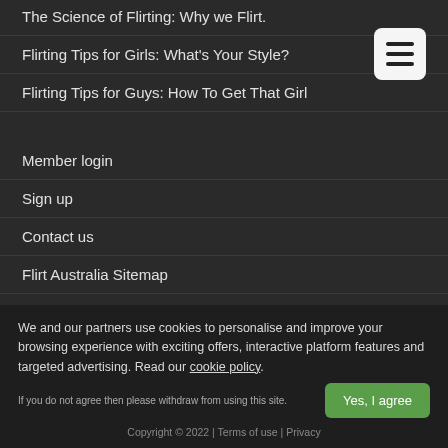The Science of Flirting: Why we Flirt.
Flirting Tips for Girls: What's Your Style?
Flirting Tips for Guys: How To Get That Girl
Member login
Sign up
Contact us
Flirt Australia Sitemap
We and our partners use cookies to personalise and improve your browsing experience with exciting offers, interactive platform features and targeted advertising. Read our cookie policy.
If you do not agree then please withdraw from using this site.
Copyright © 2022 | Terms of use | Privacy